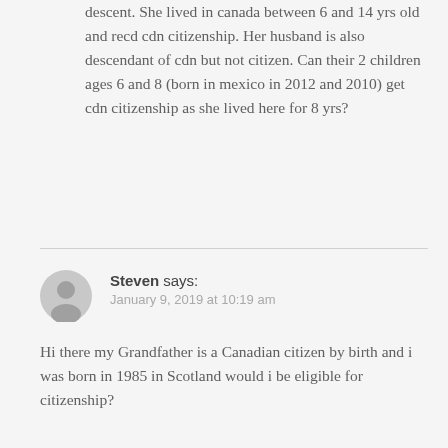descent. She lived in canada between 6 and 14 yrs old and recd cdn citizenship. Her husband is also descendant of cdn but not citizen. Can their 2 children ages 6 and 8 (born in mexico in 2012 and 2010) get cdn citizenship as she lived here for 8 yrs?
Steven says:
January 9, 2019 at 10:19 am

Hi there my Grandfather is a Canadian citizen by birth and i was born in 1985 in Scotland would i be eligible for citizenship?